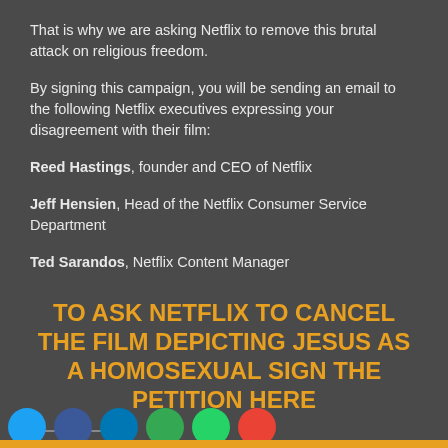That is why we are asking Netflix to remove this brutal attack on religious freedom.
By signing this campaign, you will be sending an email to the following Netflix executives expressing your disagreement with their film:
Reed Hastings, founder and CEO of Netflix
Jeff Hensien, Head of the Netflix Consumer Service Department
Ted Sarandos, Netflix Content Manager
TO ASK NETFLIX TO CANCEL THE FILM DEPICTING JESUS AS A HOMOSEXUAL SIGN THE PETITION HERE
Share this: